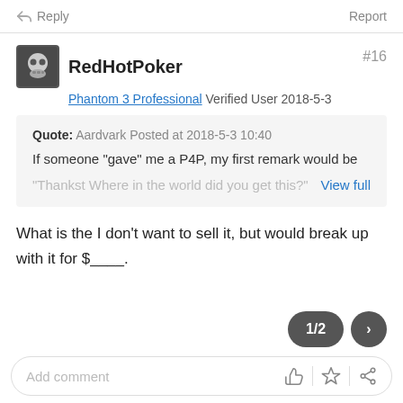Reply   Report
RedHotPoker  #16
Phantom 3 Professional  Verified User  2018-5-3
Quote: Aardvark Posted at 2018-5-3 10:40
If someone "gave" me a P4P, my first remark would be
"Thankst Where in the world did you get this?"  View full
What is the I don't want to sell it, but would break up with it for $____.
1/2  >
Add comment